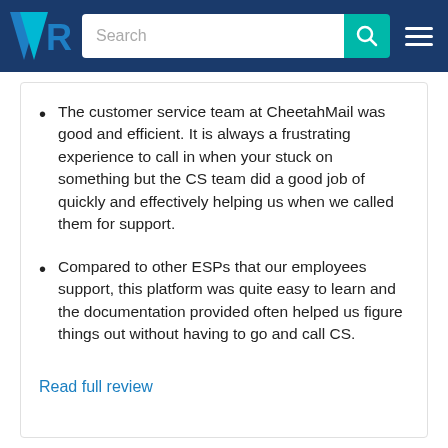TrustRadius – Search navigation header
The customer service team at CheetahMail was good and efficient. It is always a frustrating experience to call in when your stuck on something but the CS team did a good job of quickly and effectively helping us when we called them for support.
Compared to other ESPs that our employees support, this platform was quite easy to learn and the documentation provided often helped us figure things out without having to go and call CS.
Read full review